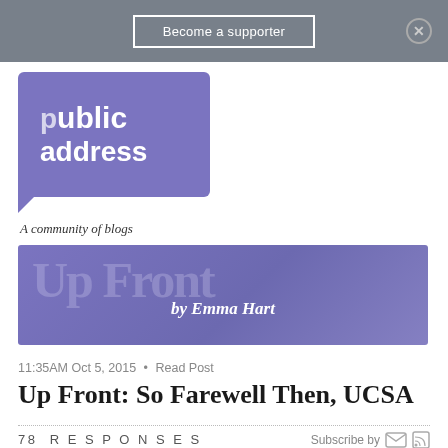Become a supporter
[Figure (logo): Public Address – A community of blogs logo with purple speech bubble graphic]
[Figure (illustration): Up Front by Emma Hart blog banner with purple gradient background]
11:35AM Oct 5, 2015 • Read Post
Up Front: So Farewell Then, UCSA
78 RESPONSES   Subscribe by [email] [rss]
← Older  1  2  3  4  Newer →